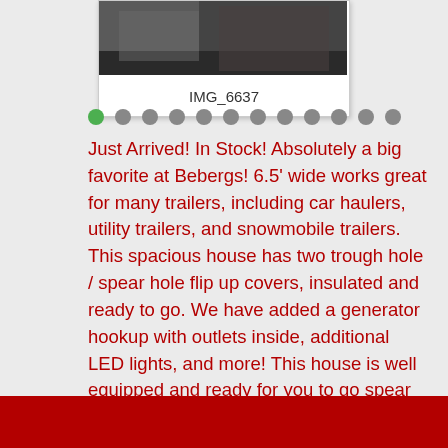[Figure (photo): Outdoor photo of a trailer or ice fishing house in snowy conditions, partially visible at top of card]
IMG_6637
Just Arrived! In Stock! Absolutely a big favorite at Bebergs! 6.5' wide works great for many trailers, including car haulers, utility trailers, and snowmobile trailers. This spacious house has two trough hole / spear hole flip up covers, insulated and ready to go. We have added a generator hookup with outlets inside, additional LED lights, and more! This house is well equipped and ready for you to go spear or angle for some great fish.